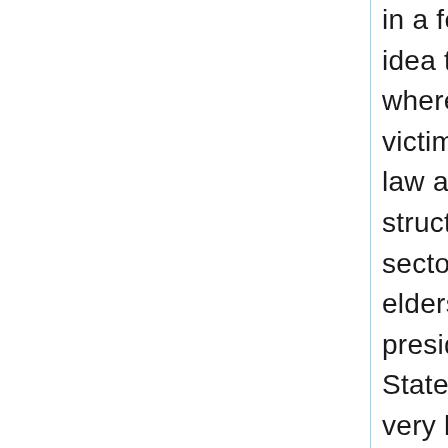in a few aspects. Regalian Law is based on the idea that the perpetrator must be punished, where Anglian law aims to compensate the victim more than punish the perpetrator. Anglian law also does not abide by the Regalian Law structure of the judges. Rather, the law giving sector in Anglia is the council of Aldermen: town elders who gather to form a tribunal when presiding over a legal case. Anglia follows the State Law structure in theory, but in practice a very lax form of “Fezanten Huys Loove” is maintained, where local issues are dealt with on a local level without pulling in the Aldermen from the bigger cities. The crime rate is generally speaking very low in Anglia due to the relatively high standard of living, the intrinsic freedoms of the peasants, and the incredibly stable